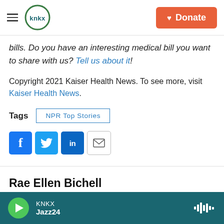KNKX — Donate
bills. Do you have an interesting medical bill you want to share with us? Tell us about it!
Copyright 2021 Kaiser Health News. To see more, visit Kaiser Health News.
Tags  NPR Top Stories
[Figure (other): Social sharing buttons: Facebook, Twitter, LinkedIn, Email]
Rae Ellen Bichell
KNKX  Jazz24